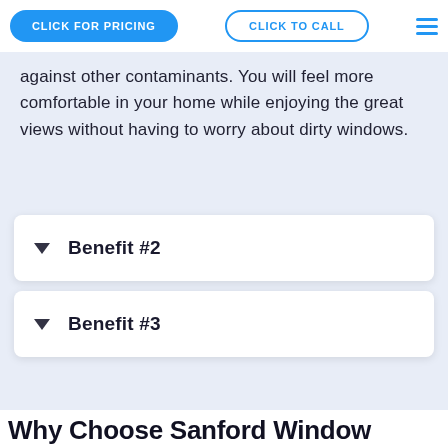CLICK FOR PRICING | CLICK TO CALL
against other contaminants. You will feel more comfortable in your home while enjoying the great views without having to worry about dirty windows.
Benefit #2
Benefit #3
Why Choose Sanford Window